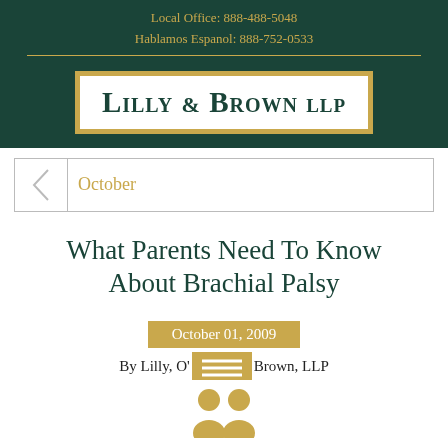Local Office: 888-488-5048
Hablamos Espanol: 888-752-0533
[Figure (logo): Lilly & Brown LLP law firm logo — dark green background with gold-bordered white box containing the firm name in small caps serif font]
October
What Parents Need To Know About Brachial Palsy
October 01, 2009
By Lilly, O'... Brown, LLP